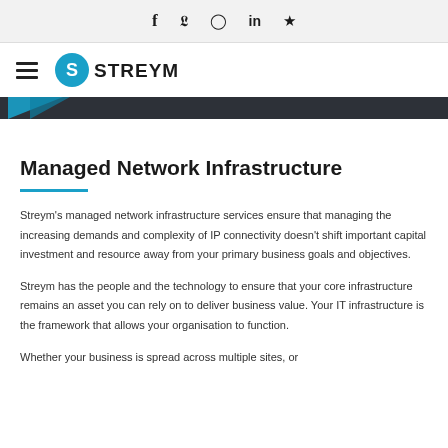f  y  ☉  in  ★
[Figure (logo): Streym logo with hamburger menu icon and circular S icon next to STREYM text in bold]
Managed Network Infrastructure
Streym's managed network infrastructure services ensure that managing the increasing demands and complexity of IP connectivity doesn't shift important capital investment and resource away from your primary business goals and objectives.
Streym has the people and the technology to ensure that your core infrastructure remains an asset you can rely on to deliver business value. Your IT infrastructure is the framework that allows your organisation to function.
Whether your business is spread across multiple sites, or